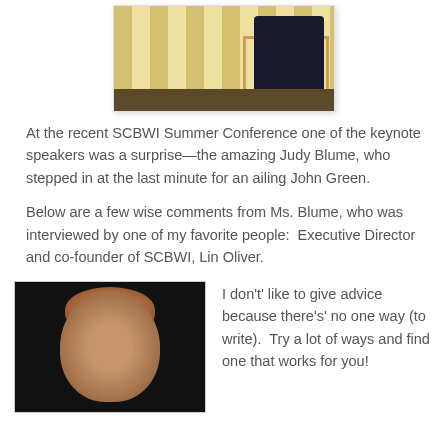[Figure (photo): Photo of a person on stage with striped curtain backdrop and chair]
At the recent SCBWI Summer Conference one of the keynote speakers was a surprise—the amazing Judy Blume, who stepped in at the last minute for an ailing John Green.
Below are a few wise comments from Ms. Blume, who was interviewed by one of my favorite people:  Executive Director and co-founder of SCBWI, Lin Oliver.
[Figure (photo): Photo of Judy Blume, dark background, smiling woman with curly hair]
I don't' like to give advice because there's' no one way (to write).  Try a lot of ways and find one that works for you!